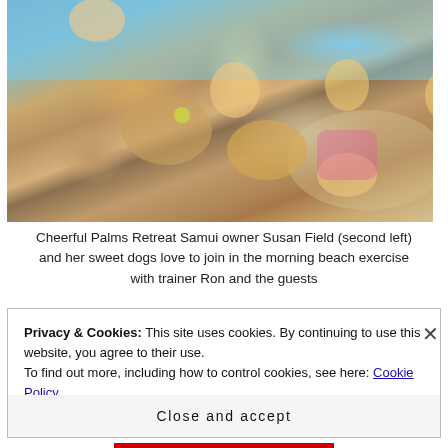[Figure (photo): Group photo of Cheerful Palms Retreat Samui owner Susan Field (second left) and her sweet dogs with trainer Ron and guests at a beach, smiling and holding dogs including one with a tennis ball.]
Cheerful Palms Retreat Samui owner Susan Field (second left) and her sweet dogs love to join in the morning beach exercise with trainer Ron and the guests
Privacy & Cookies: This site uses cookies. By continuing to use this website, you agree to their use.
To find out more, including how to control cookies, see here: Cookie Policy
Close and accept